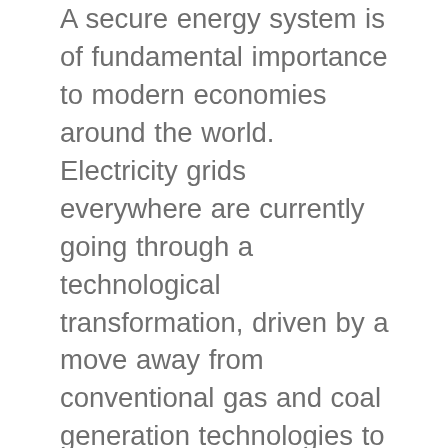A secure energy system is of fundamental importance to modern economies around the world. Electricity grids everywhere are currently going through a technological transformation, driven by a move away from conventional gas and coal generation technologies to renewable energy and energy storage technologies. The objective of a transition towards renewable energy is to reduce emissions and tap into the competitive and energy independence advantages that come with using renewable energy resources. Of course, this objective has to be delivered alongside energy security constraints.